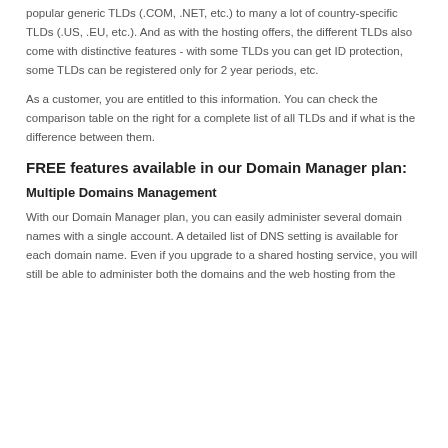popular generic TLDs (.COM, .NET, etc.) to many a lot of country-specific TLDs (.US, .EU, etc.). And as with the hosting offers, the different TLDs also come with distinctive features - with some TLDs you can get ID protection, some TLDs can be registered only for 2 year periods, etc.
As a customer, you are entitled to this information. You can check the comparison table on the right for a complete list of all TLDs and if what is the difference between them.
FREE features available in our Domain Manager plan:
Multiple Domains Management
With our Domain Manager plan, you can easily administer several domain names with a single account. A detailed list of DNS setting is available for each domain name. Even if you upgrade to a shared hosting service, you will still be able to administer both the domains and the web hosting from the